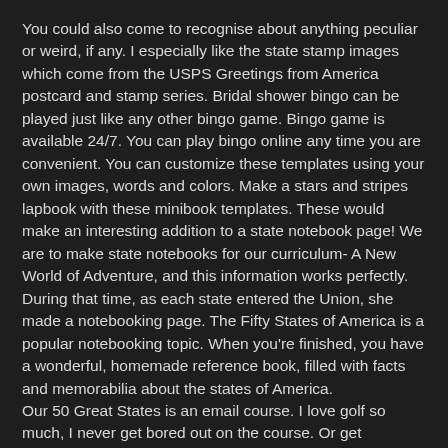You could also come to recognise about anything peculiar or weird, if any. I especially like the state stamp images which come from the USPS Greetings from America postcard and stamp series. Bridal shower bingo can be played just like any other bingo game. Bingo game is available 24/7. You can play bingo online any time you are convenient. You can customize these templates using your own images, words and colors. Make a stars and stripes lapbook with these minibook templates. These would make an interesting addition to a state notebook page! We are to make state notebooks for our curriculum- A New World of Adventure, and this information works perfectly. During that time, as each state entered the Union, she made a notebooking page. The Fifty States of America is a popular notebooking topic. When you're finished, you have a wonderful, homemade reference book, filled with facts and memorabilia about the states of America.
Our 50 Great States is an email course. I love golf so much, I never get bored out on the course. Or get inspiration from these and create a customized layout on your own. This two page layout provides room for a motto, the flag, capitol, abbreviation, nickname, quarter, seal, bird, flower, and interesting facts. COMPLETE fun, themed Collections in every room to get more tickets and play even more! But the website says more will be added. All you need to do is choose the website as per your needs and